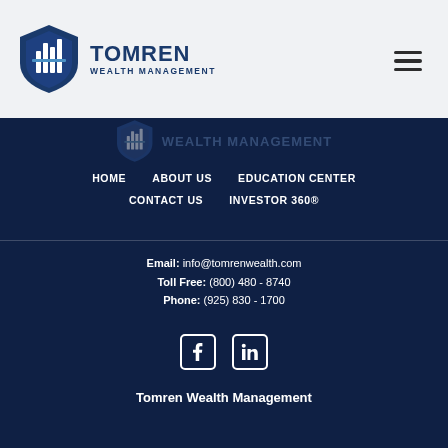[Figure (logo): Tomren Wealth Management logo — shield icon with bar chart graphic, and text 'TOMREN WEALTH MANAGEMENT' in dark navy blue]
[Figure (illustration): Hamburger menu icon (three horizontal lines) in top right of header]
[Figure (logo): Faded/ghosted Tomren Wealth Management logo and text at top of dark navy section]
HOME   ABOUT US   EDUCATION CENTER   CONTACT US   INVESTOR 360®
Email: info@tomrenwealth.com
Toll Free: (800) 480 - 8740
Phone: (925) 830 - 1700
[Figure (illustration): Facebook and LinkedIn social media icons in white on dark navy background]
Tomren Wealth Management